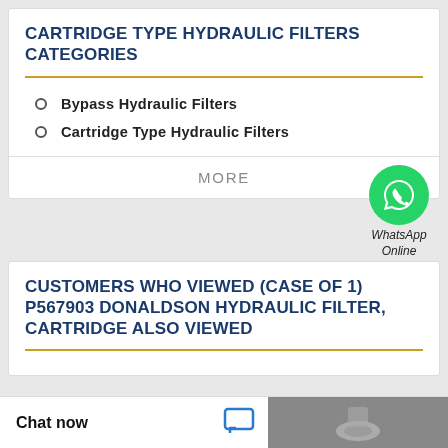CARTRIDGE TYPE HYDRAULIC FILTERS CATEGORIES
Bypass Hydraulic Filters
Cartridge Type Hydraulic Filters
MORE
[Figure (logo): WhatsApp Online badge — green circle with phone icon, label 'WhatsApp Online']
CUSTOMERS WHO VIEWED (CASE OF 1) P567903 DONALDSON HYDRAULIC FILTER, CARTRIDGE ALSO VIEWED
Chat now
[Figure (photo): Partial view of a hydraulic filter cartridge product photo, gray/metallic background]